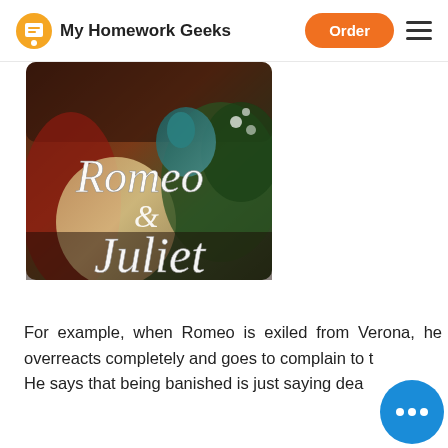My Homework Geeks | Order
[Figure (illustration): Book cover illustration for Romeo & Juliet, showing a painting backdrop with the title text in ornate white script lettering over a classical painting scene with figures and foliage.]
For example, when Romeo is exiled from Verona, he overreacts completely and goes to complain to t... He says that being banished is just saying death by...